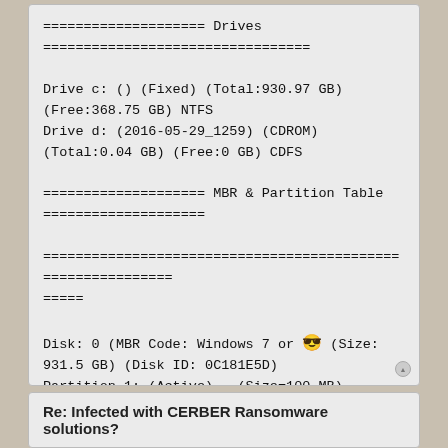==================== Drives
=================================

Drive c: () (Fixed) (Total:930.97 GB) (Free:368.75 GB) NTFS
Drive d: (2016-05-29_1259) (CDROM) (Total:0.04 GB) (Free:0 GB) CDFS

==================== MBR & Partition Table
====================

============================================================
=====

Disk: 0 (MBR Code: Windows 7 or 😎 (Size: 931.5 GB) (Disk ID: 0C181E5D)
Partition 1: (Active) - (Size=100 MB) - (Type=07 NTFS)
Partition 2: (Not Active) - (Size=931 GB) - (Type=07 NTFS)
Partition 3: (Not Active) - (Size=450 MB) - (Type=27)

==================== End of Addition.txt
==============================
Re: Infected with CERBER Ransomware solutions?